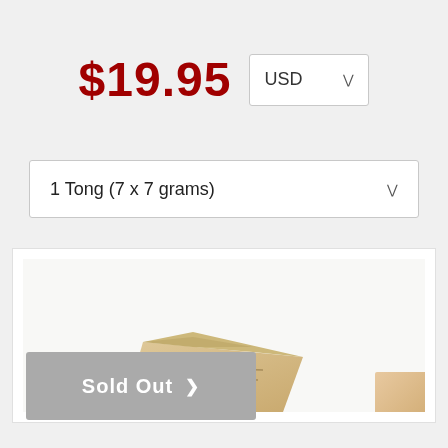$19.95
USD
1 Tong (7 x 7 grams)
[Figure (photo): Product photo showing a paper bag/parcel with printed text on a white background, with a partial view of another item on the right edge.]
Sold Out